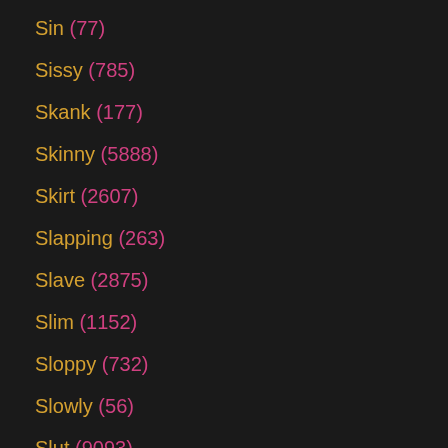Sin (77)
Sissy (785)
Skank (177)
Skinny (5888)
Skirt (2607)
Slapping (263)
Slave (2875)
Slim (1152)
Sloppy (732)
Slowly (56)
Slut (9093)
Small Cock (94)
Small Tits (9591)
Smoking (546)
Smooth (82)